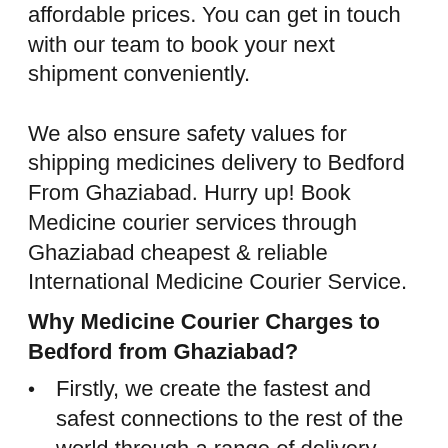affordable prices. You can get in touch with our team to book your next shipment conveniently. We also ensure safety values for shipping medicines delivery to Bedford From Ghaziabad. Hurry up! Book Medicine courier services through Ghaziabad cheapest & reliable International Medicine Courier Service.
Why Medicine Courier Charges to Bedford from Ghaziabad?
Firstly, we create the fastest and safest connections to the rest of the world through a range of delivery choices that suits the needs of the client at reasonable Medicine courier charges To Bedford from Ghaziabad
Secondly, we have strong delivery policies